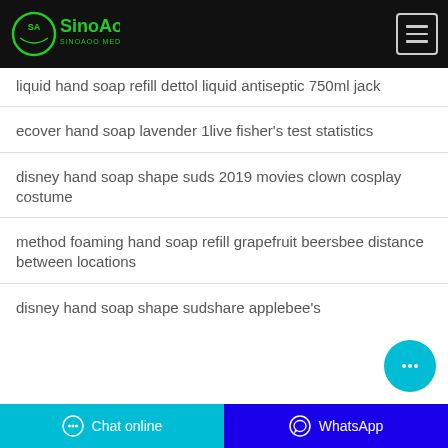SinoAgo Medical Corp
liquid hand soap refill dettol liquid antiseptic 750ml jack
ecover hand soap lavender 1live fisher's test statistics
disney hand soap shape suds 2019 movies clown cosplay costume
method foaming hand soap refill grapefruit beersbee distance between locations
disney hand soap shape sudshare applebee's
Chat online | WhatsApp